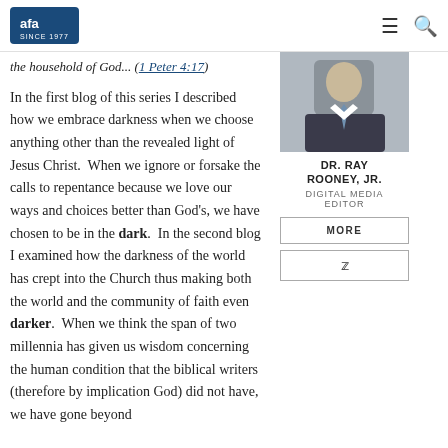AFA (American Family Association) website navigation bar with logo, hamburger menu, and search icon
the household of God... (1 Peter 4:17)
[Figure (photo): Headshot photo of Dr. Ray Rooney Jr., a man in a dark suit with a tie]
DR. RAY ROONEY, JR.
DIGITAL MEDIA EDITOR
MORE
Twitter bird icon button
In the first blog of this series I described how we embrace darkness when we choose anything other than the revealed light of Jesus Christ.  When we ignore or forsake the calls to repentance because we love our ways and choices better than God's, we have chosen to be in the dark.  In the second blog I examined how the darkness of the world has crept into the Church thus making both the world and the community of faith even darker.  When we think the span of two millennia has given us wisdom concerning the human condition that the biblical writers (therefore by implication God) did not have, we have gone beyond